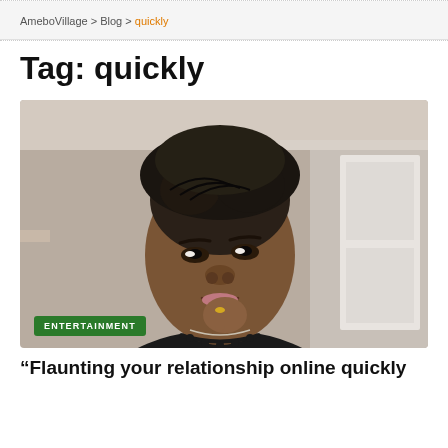AmeboVillage > Blog > quickly
Tag: quickly
[Figure (photo): A young Black woman with braided hair styled up, wearing a black top and necklace, posing with her hand near her chin in a room with a white door and grey walls. An 'ENTERTAINMENT' green badge overlays the bottom-left of the image.]
“Flaunting your relationship online quickly